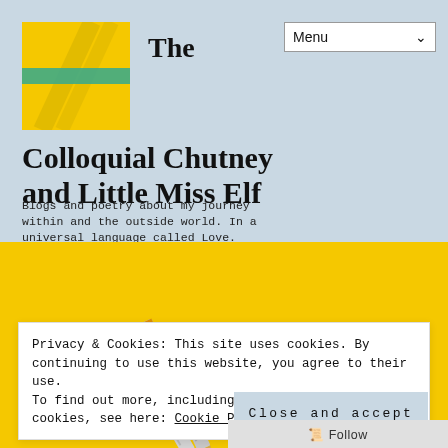[Figure (screenshot): Blog website header with logo image (yellow background with pencil), 'The' text, and Menu dropdown]
The Colloquial Chutney and Little Miss Elf
Blogs and poetry about my journey within and the outside world. In a universal language called Love.
[Figure (photo): Pencils on yellow background with watermark text 'Colloquial Chutney']
Privacy & Cookies: This site uses cookies. By continuing to use this website, you agree to their use.
To find out more, including how to control cookies, see here: Cookie Policy
Close and accept
Follow